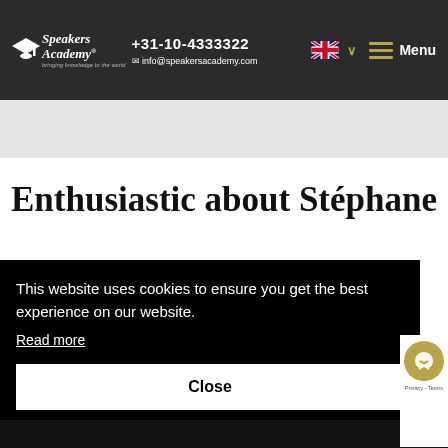Speakers Academy | +31-10-4333322 | info@speakersacademy.com
Enthusiastic about Stéphane
This website uses cookies to ensure you get the best experience on our website.
Read more
Close